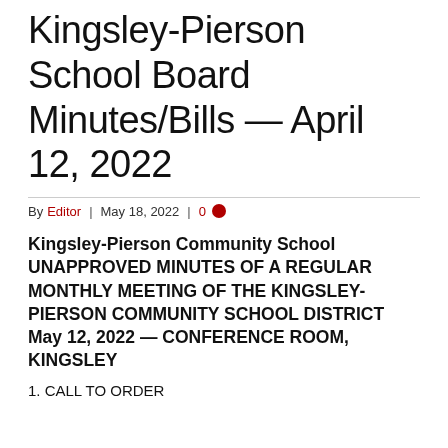Kingsley-Pierson School Board Minutes/Bills — April 12, 2022
By Editor | May 18, 2022 | 0
Kingsley-Pierson Community School UNAPPROVED MINUTES OF A REGULAR MONTHLY MEETING OF THE KINGSLEY-PIERSON COMMUNITY SCHOOL DISTRICT May 12, 2022 — CONFERENCE ROOM, KINGSLEY
1. CALL TO ORDER